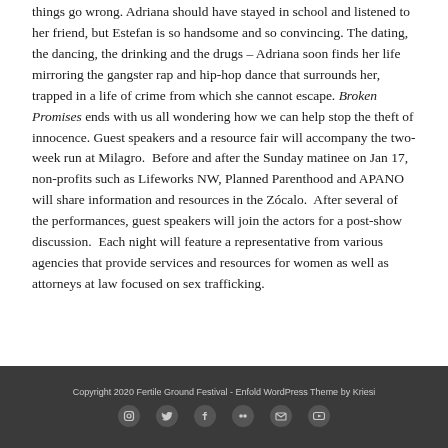things go wrong. Adriana should have stayed in school and listened to her friend, but Estefan is so handsome and so convincing. The dating, the dancing, the drinking and the drugs – Adriana soon finds her life mirroring the gangster rap and hip-hop dance that surrounds her, trapped in a life of crime from which she cannot escape. Broken Promises ends with us all wondering how we can help stop the theft of innocence. Guest speakers and a resource fair will accompany the two-week run at Milagro.  Before and after the Sunday matinee on Jan 17, non-profits such as Lifeworks NW, Planned Parenthood and APANO will share information and resources in the Zócalo.  After several of the performances, guest speakers will join the actors for a post-show discussion.  Each night will feature a representative from various agencies that provide services and resources for women as well as attorneys at law focused on sex trafficking.
Copyright 2020 Fertile Ground Festival - Enfold WordPress Theme by Kriesi